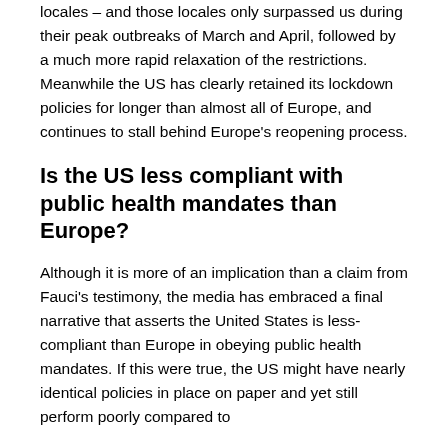locales – and those locales only surpassed us during their peak outbreaks of March and April, followed by a much more rapid relaxation of the restrictions. Meanwhile the US has clearly retained its lockdown policies for longer than almost all of Europe, and continues to stall behind Europe's reopening process.
Is the US less compliant with public health mandates than Europe?
Although it is more of an implication than a claim from Fauci's testimony, the media has embraced a final narrative that asserts the United States is less-compliant than Europe in obeying public health mandates. If this were true, the US might have nearly identical policies in place on paper and yet still perform poorly compared to